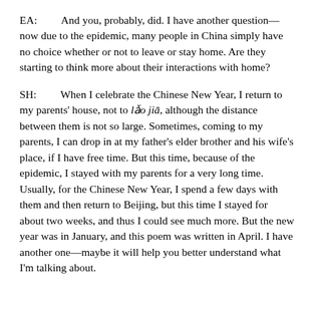EA:    And you, probably, did. I have another question—now due to the epidemic, many people in China simply have no choice whether or not to leave or stay home. Are they starting to think more about their interactions with home?
SH:    When I celebrate the Chinese New Year, I return to my parents' house, not to lǎo jiā, although the distance between them is not so large. Sometimes, coming to my parents, I can drop in at my father's elder brother and his wife's place, if I have free time. But this time, because of the epidemic, I stayed with my parents for a very long time. Usually, for the Chinese New Year, I spend a few days with them and then return to Beijing, but this time I stayed for about two weeks, and thus I could see much more. But the new year was in January, and this poem was written in April. I have another one—maybe it will help you better understand what I'm talking about.